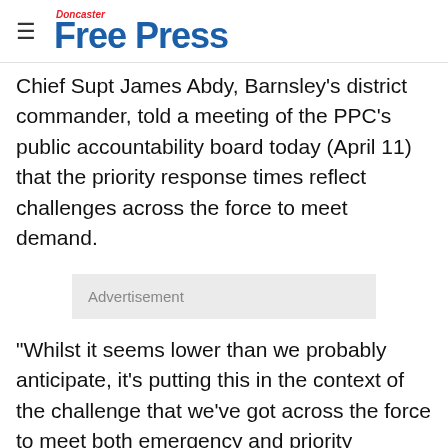Doncaster Free Press
Chief Supt James Abdy, Barnsley's district commander, told a meeting of the PPC's public accountability board today (April 11) that the priority response times reflect challenges across the force to meet demand.
Advertisement
“Whilst it seems lower than we probably anticipate, it’s putting this in the context of the challenge that we’ve got across the force to meet both emergency and priority demands.
“The work that he force are doing and also